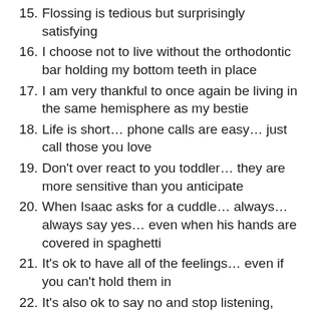15. Flossing is tedious but surprisingly satisfying
16. I choose not to live without the orthodontic bar holding my bottom teeth in place
17. I am very thankful to once again be living in the same hemisphere as my bestie
18. Life is short… phone calls are easy… just call those you love
19. Don't over react to you toddler… they are more sensitive than you anticipate
20. When Isaac asks for a cuddle… always… always say yes… even when his hands are covered in spaghetti
21. It's ok to have all of the feelings… even if you can't hold them in
22. It's also ok to say no and stop listening, watching, reading things that you can't handle… you don't have to know, see, feel everything just because everyone